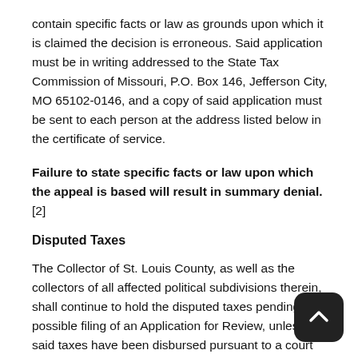contain specific facts or law as grounds upon which it is claimed the decision is erroneous. Said application must be in writing addressed to the State Tax Commission of Missouri, P.O. Box 146, Jefferson City, MO 65102-0146, and a copy of said application must be sent to each person at the address listed below in the certificate of service.
Failure to state specific facts or law upon which the appeal is based will result in summary denial. [2]
Disputed Taxes
The Collector of St. Louis County, as well as the collectors of all affected political subdivisions therein, shall continue to hold the disputed taxes pending the possible filing of an Application for Review, unless said taxes have been disbursed pursuant to a court order under the provisions of Section 139.031.8, RSMo.
Any Finding of Fact which is a Conclusion of Law or Decision be so deemed. Any Decision which is a Finding of Fact or